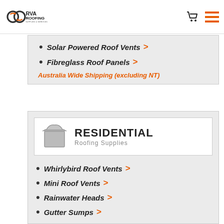RVA Roofing Supplies & Services
Solar Powered Roof Vents >
Fibreglass Roof Panels >
Australia Wide Shipping (excluding NT)
[Figure (logo): Residential Roofing Supplies logo with a box/skip bin icon]
Whirlybird Roof Vents >
Mini Roof Vents >
Rainwater Heads >
Gutter Sumps >
Solar Powered Roof Vents >